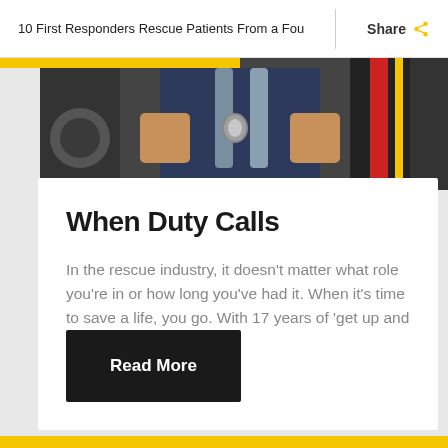10 First Responders Rescue Patients From a Fou
[Figure (photo): Close-up of a first responder in a navy blue shirt with suspenders/harness, arms crossed, partial view of emergency vehicle in background]
When Duty Calls
In the rescue industry, it doesn't matter what role you're in or how long you've had it. When it's time to save a life, you go. With 17 years of 'get up and